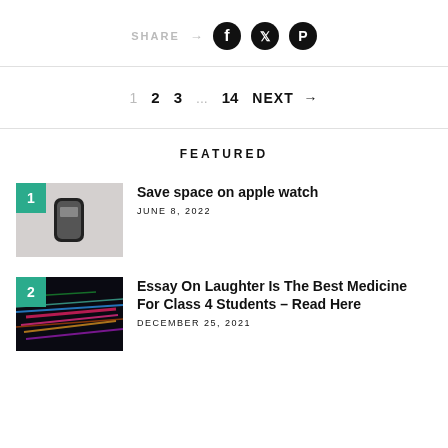SHARE → (Facebook) (Twitter) (Pinterest)
1  2  3  ...  14  NEXT →
FEATURED
[Figure (photo): Apple Watch on white background with green number 1 badge]
Save space on apple watch
JUNE 8, 2022
[Figure (photo): Colorful light streaks on dark background with green number 2 badge]
Essay On Laughter Is The Best Medicine For Class 4 Students – Read Here
DECEMBER 25, 2021